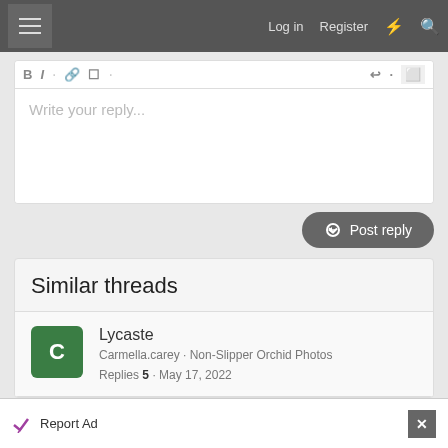Log in  Register
Write your reply...
Post reply
Similar threads
Lycaste
Carmella.carey · Non-Slipper Orchid Photos
Replies 5 · May 17, 2022
Report Ad